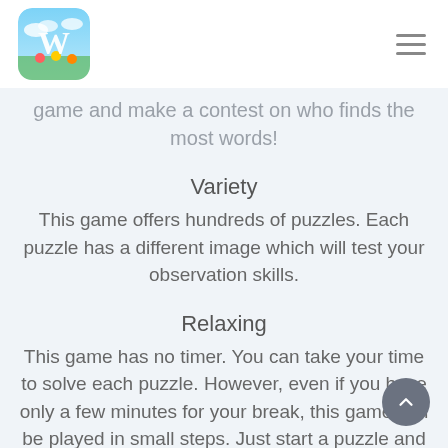W [logo] [hamburger menu]
game and make a contest on who finds the most words!
Variety
This game offers hundreds of puzzles. Each puzzle has a different image which will test your observation skills.
Relaxing
This game has no timer. You can take your time to solve each puzzle. However, even if you have only a few minutes for your break, this game can be played in small steps. Just start a puzzle and come back to it later